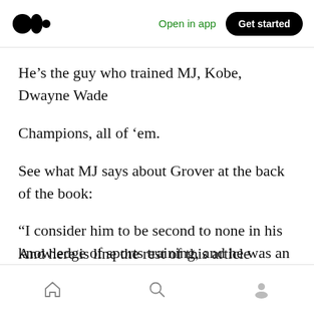Medium app header with logo, Open in app link, and Get started button
He’s the guy who trained MJ, Kobe, Dwayne Wade
Champions, all of ‘em.
See what MJ says about Grover at the back of the book:
“I consider him to be second to none in his knowledge of sports training, and he was an invaluable part of my training program …”
And here is line the rest of this article...
Bottom navigation bar with home, search, and profile icons